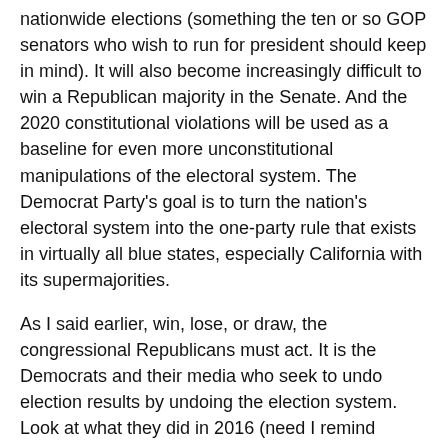nationwide elections (something the ten or so GOP senators who wish to run for president should keep in mind). It will also become increasingly difficult to win a Republican majority in the Senate. And the 2020 constitutional violations will be used as a baseline for even more unconstitutional manipulations of the electoral system. The Democrat Party's goal is to turn the nation's electoral system into the one-party rule that exists in virtually all blue states, especially California with its supermajorities.
As I said earlier, win, lose, or draw, the congressional Republicans must act. It is the Democrats and their media who seek to undo election results by undoing the election system. Look at what they did in 2016 (need I remind everyone of the relentless assault against candidate and then President Trump?) and now 2020. And they have every intention, as they have boldly proclaimed, to further undermine our constitutional system should they win the Senate majority in a few days — by eliminating the filibuster and any ability to slow their radical